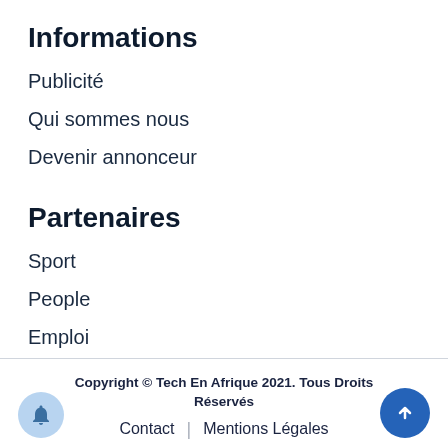Informations
Publicité
Qui sommes nous
Devenir annonceur
Partenaires
Sport
People
Emploi
Copyright © Tech En Afrique 2021. Tous Droits Réservés
Contact | Mentions Légales